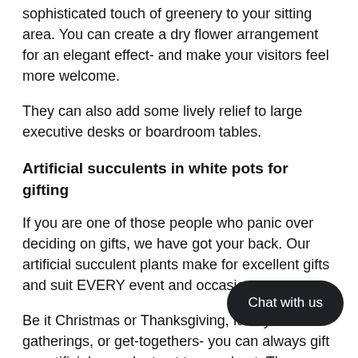sophisticated touch of greenery to your sitting area. You can create a dry flower arrangement for an elegant effect- and make your visitors feel more welcome.
They can also add some lively relief to large executive desks or boardroom tables.
Artificial succulents in white pots for gifting
If you are one of those people who panic over deciding on gifts, we have got your back. Our artificial succulent plants make for excellent gifts and suit EVERY event and occasion.
Be it Christmas or Thanksgiving, family gatherings, or get-togethers- you can always gift an artificial succulent set to your host. They are also equally good as gifts for birthdays, anniversaries, housewarmings and farewells.
[Figure (other): Chat with us button widget]